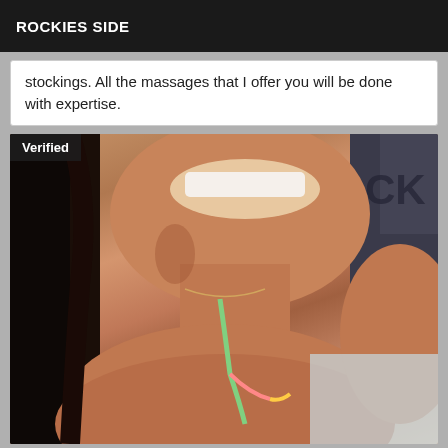ROCKIES SIDE
stockings. All the massages that I offer you will be done with expertise.
[Figure (photo): Close-up selfie photo of a smiling woman with dark hair wearing a colorful bikini top, with a 'Verified' badge overlay in the top-left corner.]